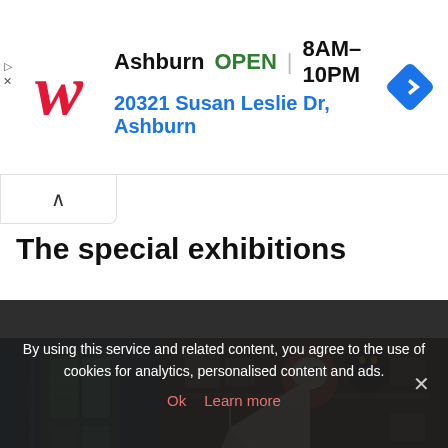[Figure (screenshot): Walgreens advertisement banner showing store location in Ashburn, OPEN 8AM-10PM, address 20321 Susan Leslie Dr, Ashburn, with Walgreens logo and navigation arrow icon]
The special exhibitions
[Figure (photo): Interior of an eclectic exhibition room with stained glass windows, blue curtains, a model sailboat, Japanese daruma doll, black cat figurine, and various artifacts on shelves]
By using this service and related content, you agree to the use of cookies for analytics, personalised content and ads. Ok Learn more